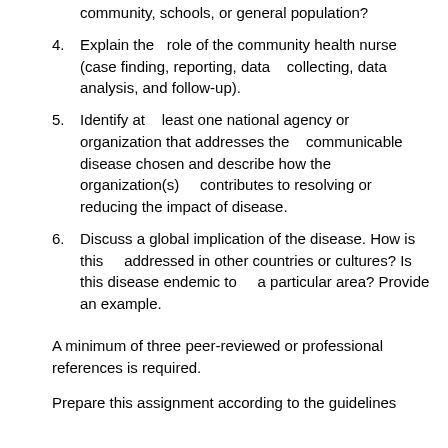community, schools, or general population?
4. Explain the role of the community health nurse (case finding, reporting, data collecting, data analysis, and follow-up).
5. Identify at least one national agency or organization that addresses the communicable disease chosen and describe how the organization(s) contributes to resolving or reducing the impact of disease.
6. Discuss a global implication of the disease. How is this addressed in other countries or cultures? Is this disease endemic to a particular area? Provide an example.
A minimum of three peer-reviewed or professional references is required.
Prepare this assignment according to the guidelines